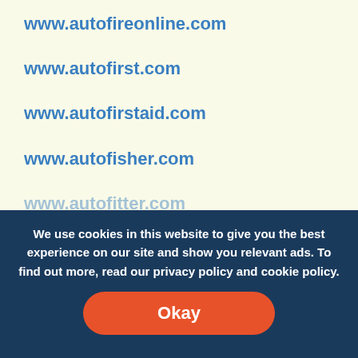www.autofireonline.com
www.autofirst.com
www.autofirstaid.com
www.autofisher.com
www.autofitter.com
www.autofitters.com
We use cookies in this website to give you the best experience on our site and show you relevant ads. To find out more, read our privacy policy and cookie policy.
Okay